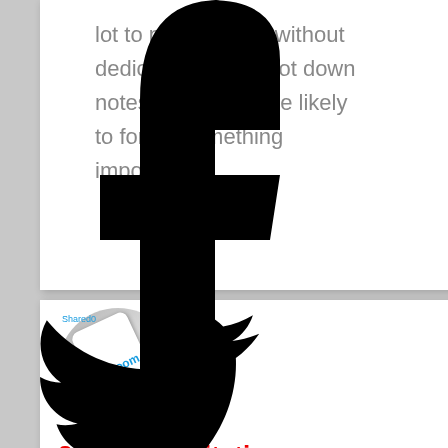lot to process and without dedicating time to jot down notes how I'm more likely to forget something important.
[Figure (photo): Circular photo showing a smartphone with Zoom app visible, labeled 'Shared0' in blue text]
3.0 [Online] Facilitation
I love it when I have a chance to facilitate workshops and
[Figure (logo): Large black Facebook logo 'f' overlaid across the page]
[Figure (logo): Large black Twitter bird logo overlaid across the lower portion of the page]
Tweet0